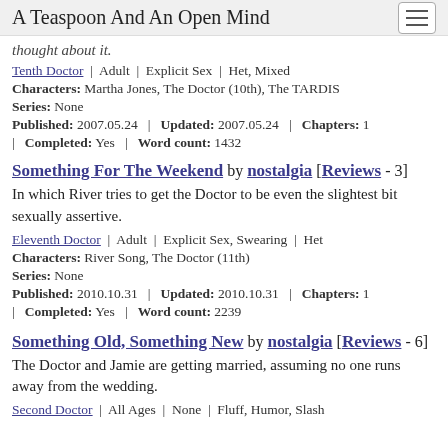A Teaspoon And An Open Mind
thought about it.
Tenth Doctor | Adult | Explicit Sex | Het, Mixed
Characters: Martha Jones, The Doctor (10th), The TARDIS
Series: None
Published: 2007.05.24 | Updated: 2007.05.24 | Chapters: 1 | Completed: Yes | Word count: 1432
Something For The Weekend by nostalgia [Reviews - 3]
In which River tries to get the Doctor to be even the slightest bit sexually assertive.
Eleventh Doctor | Adult | Explicit Sex, Swearing | Het
Characters: River Song, The Doctor (11th)
Series: None
Published: 2010.10.31 | Updated: 2010.10.31 | Chapters: 1 | Completed: Yes | Word count: 2239
Something Old, Something New by nostalgia [Reviews - 6]
The Doctor and Jamie are getting married, assuming no one runs away from the wedding.
Second Doctor | All Ages | None | Fluff, Humor, Slash